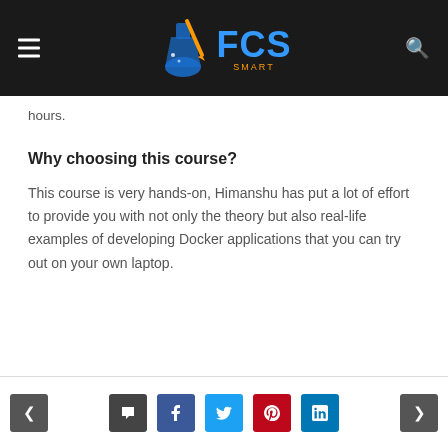FCS SMART — site header with navigation logo
hours.
Why choosing this course?
This course is very hands-on, Himanshu has put a lot of effort to provide you with not only the theory but also real-life examples of developing Docker applications that you can try out on your own laptop.
Navigation footer with prev/next and social share buttons (comment, Facebook, Twitter, Pinterest, LinkedIn)